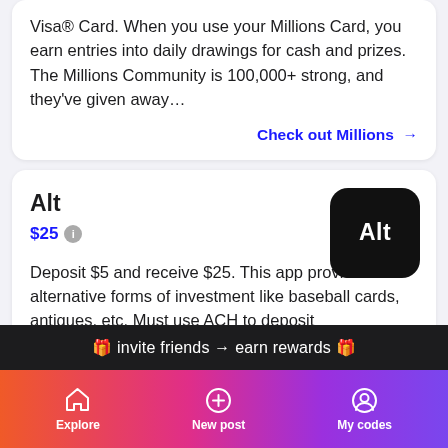Visa® Card. When you use your Millions Card, you earn entries into daily drawings for cash and prizes. The Millions Community is 100,000+ strong, and they've given away…
Check out Millions →
Alt
$25
[Figure (logo): Alt app logo: black rounded square with white text 'Alt']
Deposit $5 and receive $25. This app provides alternative forms of investment like baseball cards, antiques, etc. Must use ACH to deposit
Check out Alt →
🎁 invite friends → earn rewards 🎁
Explore   New post   My codes